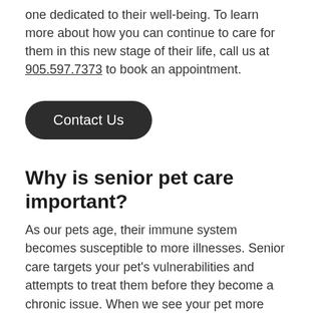one dedicated to their well-being. To learn more about how you can continue to care for them in this new stage of their life, call us at 905.597.7373 to book an appointment.
Contact Us
Why is senior pet care important?
As our pets age, their immune system becomes susceptible to more illnesses. Senior care targets your pet's vulnerabilities and attempts to treat them before they become a chronic issue. When we see your pet more often, we can determine if